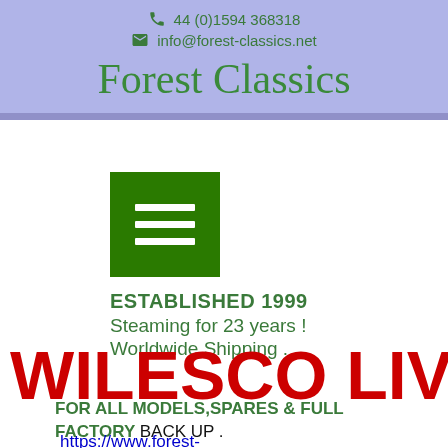44 (0)1594 368318  info@forest-classics.net
Forest Classics
[Figure (other): Green hamburger menu button icon with three white horizontal lines]
ESTABLISHED 1999
Steaming for 23 years !
Worldwide  Shipping .
WILESCO LIV
FOR ALL MODELS,SPARES & FULL FACTORY BACK UP .
https://www.forest-